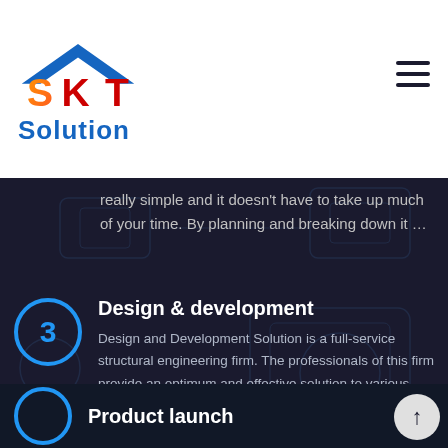[Figure (logo): SK IT Solution logo with colorful SK IT text and blue 'Solution' text below]
really simple and it doesn't have to take up much of your time. By planning and breaking down it …
Design & development
Design and Development Solution is a full-service structural engineering firm. The professionals of this firm provide an optimum and effective solution to various types of Stk It Solution Ltd.
Product launch